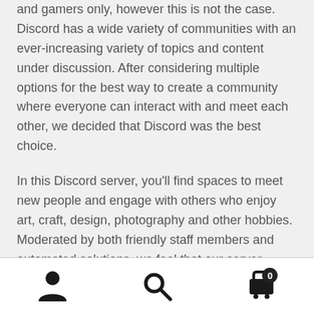and gamers only, however this is not the case. Discord has a wide variety of communities with an ever-increasing variety of topics and content under discussion. After considering multiple options for the best way to create a community where everyone can interact with and meet each other, we decided that Discord was the best choice.
In this Discord server, you'll find spaces to meet new people and engage with others who enjoy art, craft, design, photography and other hobbies. Moderated by both friendly staff members and automated solutions, we feel that our server provides a safe & inclusive space for people to meet.
[Figure (infographic): Bottom navigation bar with three icons: a person/user icon on the left, a search magnifying glass icon in the center, and a shopping cart icon with a badge showing '0' on the right.]